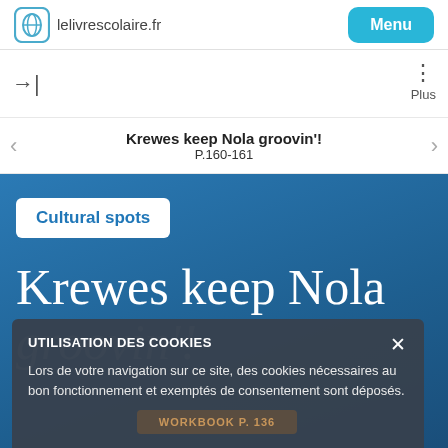lelivrescolaire.fr  Menu
→|
Plus
Krewes keep Nola groovin'!
P.160-161
Cultural spots
Krewes keep Nola groovin'!
UTILISATION DES COOKIES
Lors de votre navigation sur ce site, des cookies nécessaires au bon fonctionnement et exemptés de consentement sont déposés.